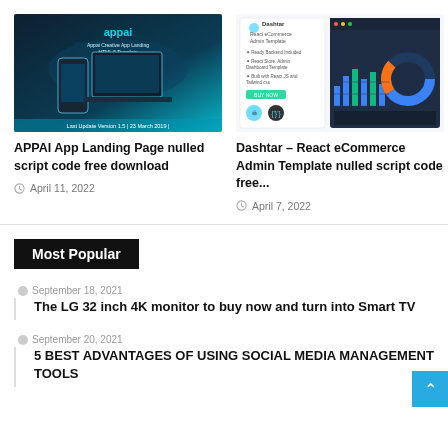[Figure (screenshot): Screenshot of APPAI App Landing Page HTML5 template preview with dark teal background showing mobile and desktop mockups]
APPAI App Landing Page nulled script code free download
April 11, 2022
[Figure (screenshot): Screenshot of Dashtar React eCommerce Admin Template preview with dark dashboard UI showing bar charts and donut chart]
Dashtar – React eCommerce Admin Template nulled script code free...
April 7, 2022
Most Popular
September 18, 2021
The LG 32 inch 4K monitor to buy now and turn into Smart TV
September 20, 2021
5 BEST ADVANTAGES OF USING SOCIAL MEDIA MANAGEMENT TOOLS